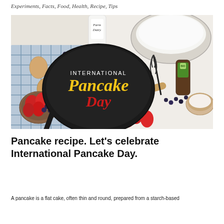Experiments, Facts, Food, Health, Recipe, Tips
[Figure (photo): Overhead flat-lay photo of pancake ingredients: a black frying pan, eggs, a bottle of Farm Dairy milk, a bowl of flour, a whisk, strawberries, blueberries, a bottle of maple syrup, a bowl of sugar, and a wooden spoon on a blue checked cloth, with 'INTERNATIONAL Pancake Day' text overlaid on the pan.]
Pancake recipe. Let’s celebrate International Pancake Day.
A pancake is a flat cake, often thin and round, prepared from a starch-based